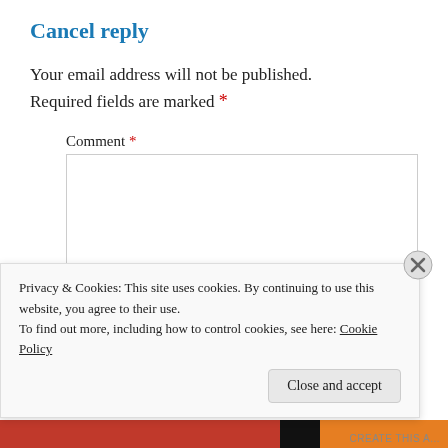Cancel reply
Your email address will not be published. Required fields are marked *
Comment *
[Figure (screenshot): Empty comment textarea input box with a light border]
Privacy & Cookies: This site uses cookies. By continuing to use this website, you agree to their use.
To find out more, including how to control cookies, see here: Cookie Policy
Close and accept